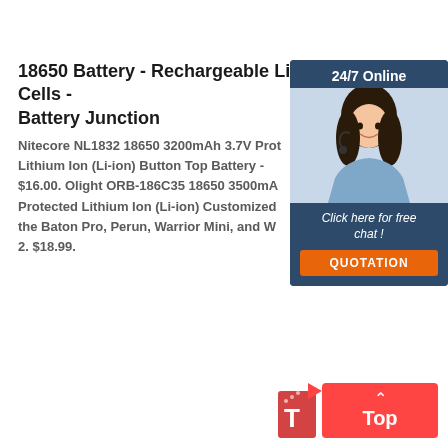18650 Battery - Rechargeable Li-Ion Cells - Battery Junction
Nitecore NL1832 18650 3200mAh 3.7V Protected Lithium Ion (Li-ion) Button Top Battery - $16.00. Olight ORB-186C35 18650 3500mAh Protected Lithium Ion (Li-ion) Customized for the Baton Pro, Perun, Warrior Mini, and W2. $18.99.
[Figure (infographic): Customer support chat widget with '24/7 Online' header, photo of a woman with headset, 'Click here for free chat!' text, and orange QUOTATION button]
[Figure (infographic): Red 'Top' scroll-to-top button with upward arrow in the bottom right corner, with a small red house/flag icon to the left]